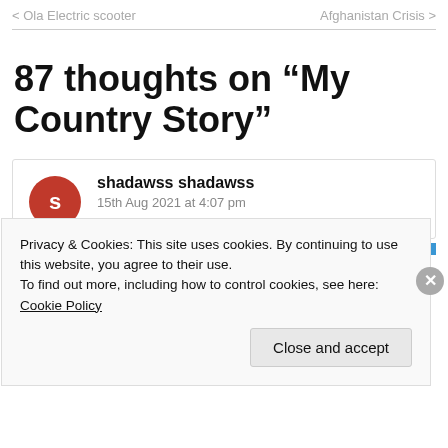< Ola Electric scooter    Afghanistan Crisis >
87 thoughts on “My Country Story”
shadawss shadawss
15th Aug 2021 at 4:07 pm
Privacy & Cookies: This site uses cookies. By continuing to use this website, you agree to their use.
To find out more, including how to control cookies, see here: Cookie Policy
Close and accept